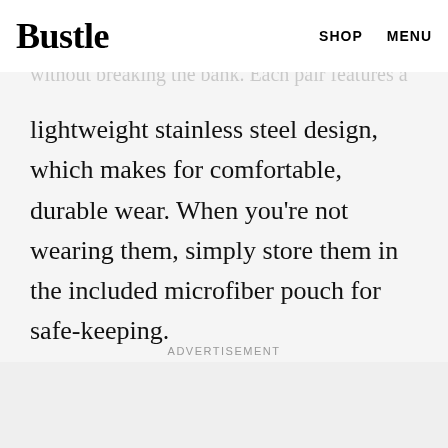Bustle  SHOP  MENU
ll be able to tailor your shades to your wardrobe without breaking the bank. Each pair features a lightweight stainless steel design, which makes for comfortable, durable wear. When you're not wearing them, simply store them in the included microfiber pouch for safe-keeping.
ADVERTISEMENT